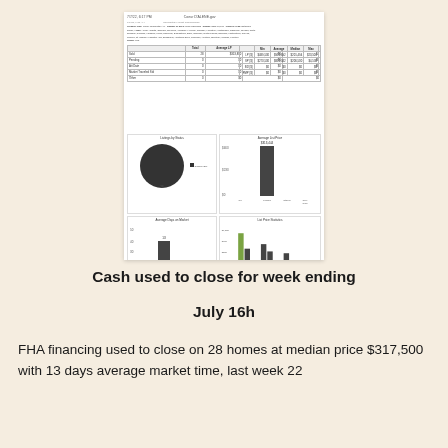[Figure (other): Thumbnail of a real estate market statistics report page showing tables and charts including listings by status pie chart, average list price bar chart, average days on market bar chart, and list price statistics grouped bar chart]
Cash used to close for week ending
July 16h
FHA financing used to close on 28 homes at median price $317,500 with 13 days average market time, last week 22